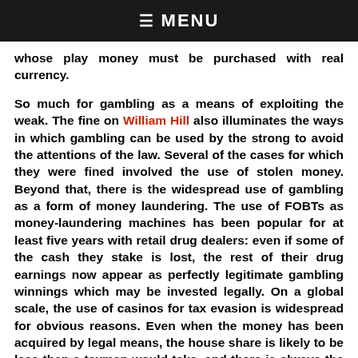≡ MENU
whose play money must be purchased with real currency.
So much for gambling as a means of exploiting the weak. The fine on William Hill also illuminates the ways in which gambling can be used by the strong to avoid the attentions of the law. Several of the cases for which they were fined involved the use of stolen money. Beyond that, there is the widespread use of gambling as a form of money laundering. The use of FOBTs as money-laundering machines has been popular for at least five years with retail drug dealers: even if some of the cash they stake is lost, the rest of their drug earnings now appear as perfectly legitimate gambling winnings which may be invested legally. On a global scale, the use of casinos for tax evasion is widespread for obvious reasons. Even when the money has been acquired by legal means, the house share is likely to be less than a taxman would take, and there is always the chance of winning something as well. Perhaps the ultimate development of this tendency is the small Chinese casino on Saipan, a remote Pacific atoll